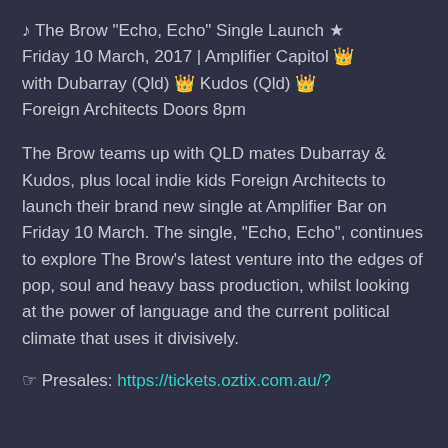♪ The Brow "Echo, Echo" Single Launch ★ Friday 10 March, 2017 | Amplifier Capitol 👑 with Dubarray (Qld) 👑 Kudos (Qld) 👑 Foreign Architects Doors 8pm
The Brow teams up with QLD mates Dubarray & Kudos, plus local indie kids Foreign Architects to launch their brand new single at Amplifier Bar on Friday 10 March. The single, "Echo, Echo", continues to explore The Brow's latest venture into the edges of pop, soul and heavy bass production, whilst looking at the power of language and the current political climate that uses it divisively.
☞ Presales: https://tickets.oztix.com.au/?